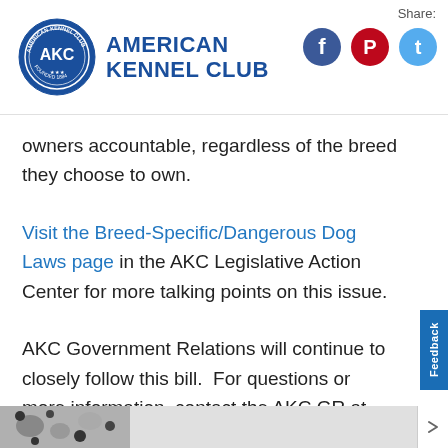American Kennel Club — Share
owners accountable, regardless of the breed they choose to own.
Visit the Breed-Specific/Dangerous Dog Laws page in the AKC Legislative Action Center for more talking points on this issue.
AKC Government Relations will continue to closely follow this bill.  For questions or more information, contact the AKC GR at (919) 816-3720 or doglaw@akc.org
[Figure (photo): Bottom strip image of a dog (dalmatian spots visible), partially visible at bottom of page]